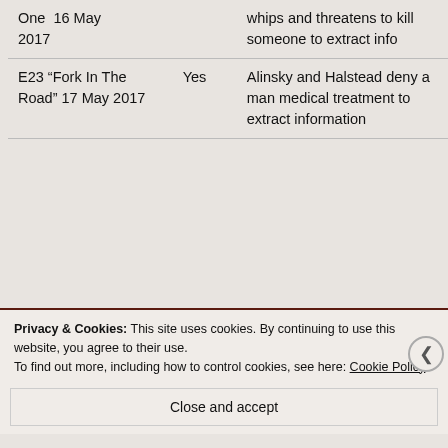| Episode | Watched? | Description |
| --- | --- | --- |
| One  16 May 2017 |  | whips and threatens to kill someone to extract info |
| E23 “Fork In The Road” 17 May 2017 | Yes | Alinsky and Halstead deny a man medical treatment to extract information |
Privacy & Cookies: This site uses cookies. By continuing to use this website, you agree to their use.
To find out more, including how to control cookies, see here: Cookie Policy
Close and accept